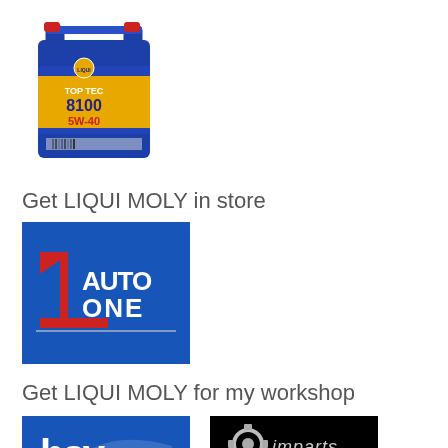[Figure (photo): LIQUI MOLY Top Tec 4100 5W-40 motor oil blue canister/container]
Get LIQUI MOLY in store
[Figure (logo): 1 Auto One logo on blue background with red number 1 and white text AUTO ONE]
Get LIQUI MOLY for my workshop
[Figure (logo): HSV logo on blue background (partial)]
[Figure (logo): imparts logo on black background (partial)]